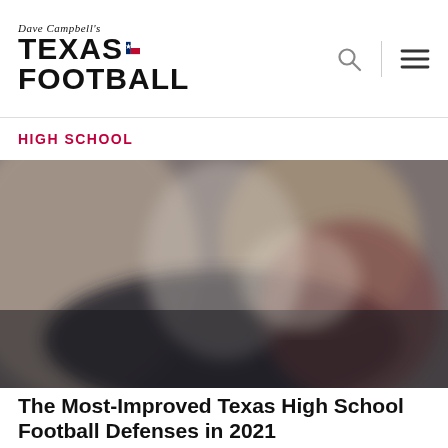Dave Campbell's TEXAS FOOTBALL
HIGH SCHOOL
[Figure (photo): Blurred action photo of a football player/game scene with dark and muted tones]
The Most-Improved Texas High School Football Defenses in 2021